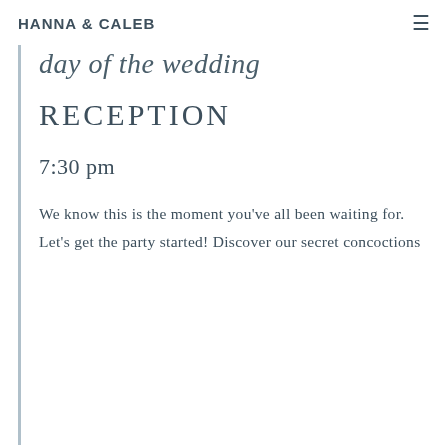HANNA & CALEB
day of the wedding
RECEPTION
7:30 pm
We know this is the moment you've all been waiting for. Let's get the party started! Discover our secret concoctions